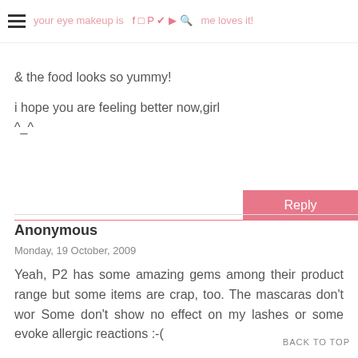your eye makeup is [social icons] me loves it!
& the food looks so yummy!
i hope you are feeling better now,girl ^_^
Reply
Anonymous
Monday, 19 October, 2009
Yeah, P2 has some amazing gems among their product range but some items are crap, too. The mascaras don't wor Some don't show no effect on my lashes or some evoke allergic reactions :-(
BACK TO TOP